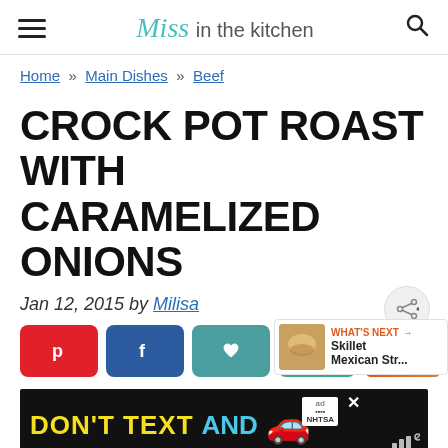Miss in the kitchen
Home » Main Dishes » Beef
CROCK POT ROAST WITH CARAMELIZED ONIONS
Jan 12, 2015 by Milisa
[Figure (other): Social sharing buttons: Pinterest, Facebook, Heart/Save, Email, Yum; What's Next panel showing Skillet Mexican Str...]
[Figure (other): Advertisement banner: DON'T TEXT AND [car emoji], NHTSA ad with close button]